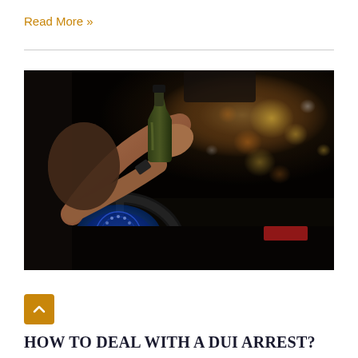Read More »
[Figure (photo): Person drinking from a bottle while sitting in a car at the driver's seat, with illuminated dashboard gauges and blurred city lights visible through the windshield at night.]
[Figure (infographic): Orange square button with upward-pointing chevron arrow (back to top button)]
HOW TO DEAL WITH A DUI ARREST?